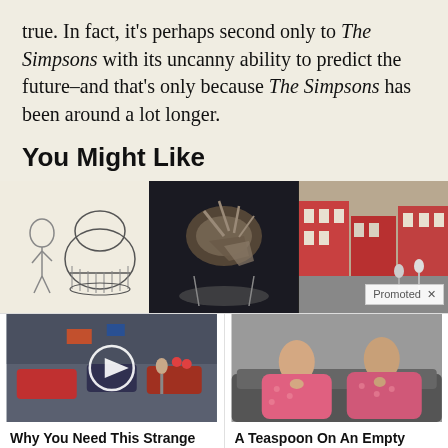true. In fact, it's perhaps second only to The Simpsons with its uncanny ability to predict the future–and that's only because The Simpsons has been around a lot longer.
You Might Like
[Figure (photo): Three thumbnail images in a row: a black-and-white illustration of a woman and a large hat/basket, a museum dinosaur skull fossil, and a street scene photo. The third has a 'Promoted X' badge.]
[Figure (photo): Street video thumbnail with play button overlay showing busy urban intersection]
Why You Need This Strange Device When The Grid Goes Down
🔥 6,643
[Figure (photo): Two women in pink pajamas sitting on a couch]
A Teaspoon On An Empty Stomach Burns 12 Lbs Of Fat A Week Safely!
🔥 8,967